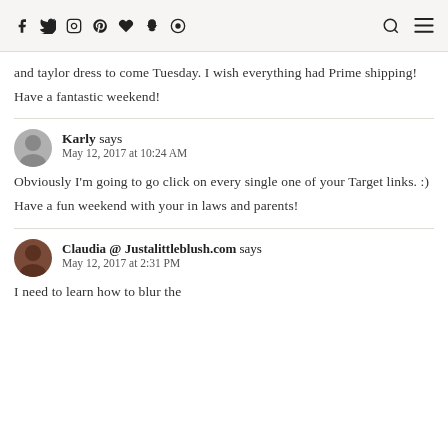Social media icons: f, Twitter, Instagram, Pinterest, Heart, Snapchat, Circle; Search icon; Menu icon
and taylor dress to come Tuesday. I wish everything had Prime shipping! Have a fantastic weekend!
Karly says
May 12, 2017 at 10:24 AM
Obviously I'm going to go click on every single one of your Target links. :) Have a fun weekend with your in laws and parents!
Claudia @ Justalittleblush.com says
May 12, 2017 at 2:31 PM
I need to learn how to blur the